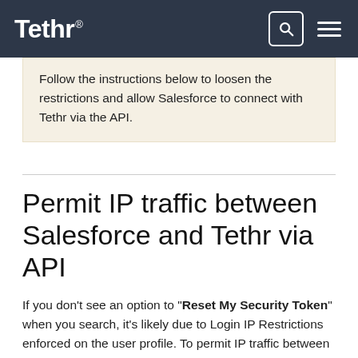Tethr
Follow the instructions below to loosen the restrictions and allow Salesforce to connect with Tethr via the API.
Permit IP traffic between Salesforce and Tethr via API
If you don’t see an option to “Reset My Security Token” when you search, it’s likely due to Login IP Restrictions enforced on the user profile. To permit IP traffic between Salesforce and Tethr via the API: